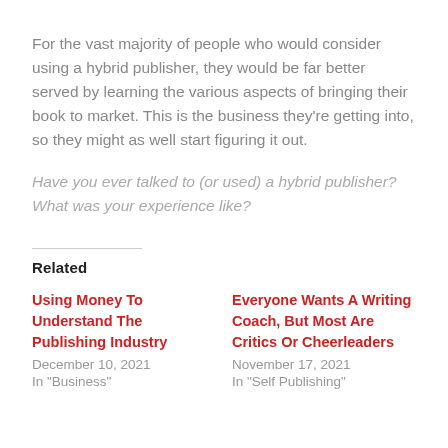For the vast majority of people who would consider using a hybrid publisher, they would be far better served by learning the various aspects of bringing their book to market. This is the business they're getting into, so they might as well start figuring it out.
Have you ever talked to (or used) a hybrid publisher? What was your experience like?
Related
Using Money To Understand The Publishing Industry
December 10, 2021
In "Business"
Everyone Wants A Writing Coach, But Most Are Critics Or Cheerleaders
November 17, 2021
In "Self Publishing"